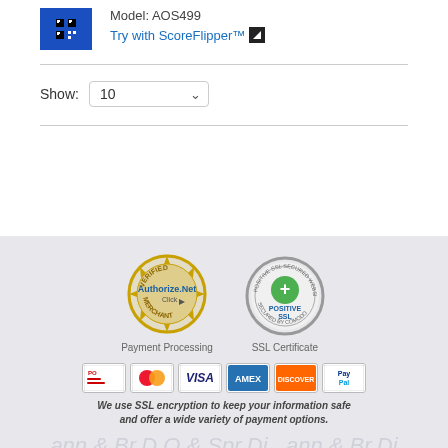[Figure (screenshot): Product image thumbnail with blue background and QR code icon]
Model: AOS499
Try with ScoreFlipper™
Show: 10
[Figure (logo): Authorize.Net Verified Merchant badge - gold seal]
[Figure (logo): Positive SSL Secured Website badge - silver seal]
Payment Processing
SSL Certificate
[Figure (infographic): Payment card logos: PO, MasterCard, VISA, AMEX, Discover, PayPal]
We use SSL encryption to keep your information safe and offer a wide variety of payment options.
Currency:
US Dollar